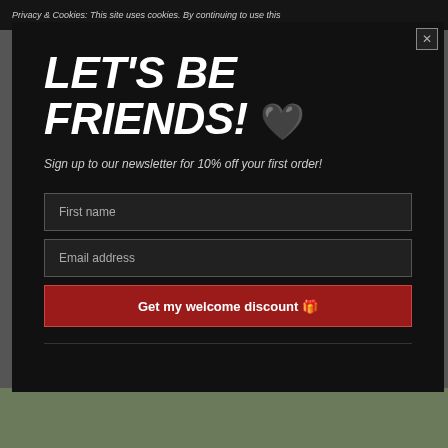Privacy & Cookies: This site uses cookies. By continuing to use this
LET'S BE FRIENDS! 🖤
Sign up to our newsletter for 10% off your first order!
First name
Email address
Get my welcome discount 🎁